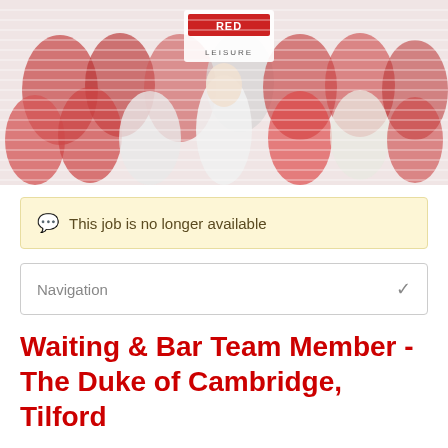[Figure (photo): Red Leisure company banner photo showing a group of hospitality staff in red and white uniforms with a Red Leisure logo sign in the background]
This job is no longer available
Navigation
Waiting & Bar Team Member - The Duke of Cambridge, Tilford
Description     Red Attraction